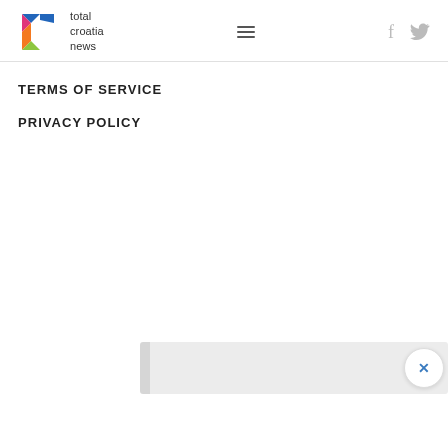total croatia news — navigation header with logo, hamburger menu, and social icons (f, twitter)
TERMS OF SERVICE
PRIVACY POLICY
[Figure (screenshot): A partially visible popup/banner at the bottom of the page with a close (X) button on the right side, over a light gray bar.]